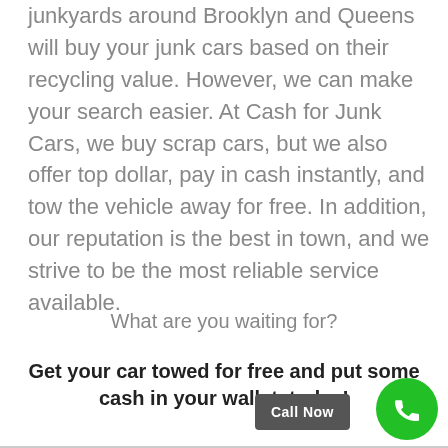junkyards around Brooklyn and Queens will buy your junk cars based on their recycling value. However, we can make your search easier. At Cash for Junk Cars, we buy scrap cars, but we also offer top dollar, pay in cash instantly, and tow the vehicle away for free. In addition, our reputation is the best in town, and we strive to be the most reliable service available.
What are you waiting for?
Get your car towed for free and put some cash in your wallet, today!